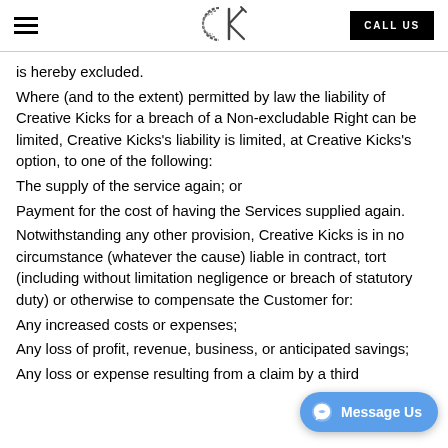Creative Kicks — CALL US
is hereby excluded.
Where (and to the extent) permitted by law the liability of Creative Kicks for a breach of a Non-excludable Right can be limited, Creative Kicks's liability is limited, at Creative Kicks's option, to one of the following:
The supply of the service again; or
Payment for the cost of having the Services supplied again.
Notwithstanding any other provision, Creative Kicks is in no circumstance (whatever the cause) liable in contract, tort (including without limitation negligence or breach of statutory duty) or otherwise to compensate the Customer for:
Any increased costs or expenses;
Any loss of profit, revenue, business, or anticipated savings;
Any loss or expense resulting from a claim by a third